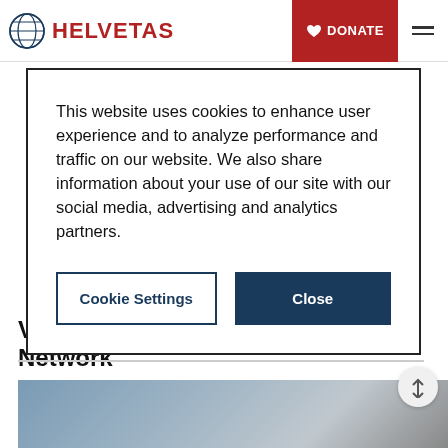HELVETAS | DONATE
This website uses cookies to enhance user experience and to analyze performance and traffic on our website. We also share information about your use of our site with our social media, advertising and analytics partners.
Cookie Settings | Close
Value Chain Capacity Building Network
[Figure (photo): Partial image of a scene, likely related to Helvetas development work, appearing at the bottom of the page in blue-grey tones.]